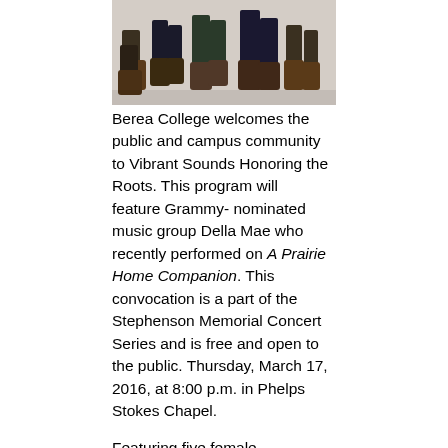[Figure (photo): Cropped photo showing the feet and lower legs of several people dancing or standing, viewed from below on a light gray surface.]
Berea College welcomes the public and campus community to Vibrant Sounds Honoring the Roots. This program will feature Grammy- nominated music group Della Mae who recently performed on A Prairie Home Companion. This convocation is a part of the Stephenson Memorial Concert Series and is free and open to the public. Thursday, March 17, 2016, at 8:00 p.m. in Phelps Stokes Chapel.
Featuring five female instrumentalists/vocalists, the group formed in 2009, built a fan base with the release of their first album, I Built This Heart, in 2011 and broke through with the release of their 2013 Grammy-nominated album, This World Oft Can Be. In 2015, Della Mae released their self-